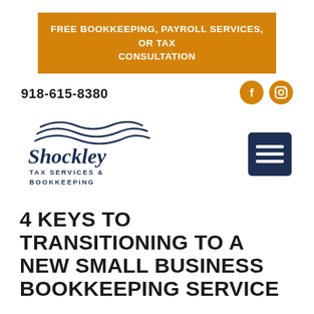FREE BOOKKEEPING, PAYROLL SERVICES, OR TAX CONSULTATION
918-615-8380
[Figure (logo): Shockley Tax Services & Bookkeeping logo with wave graphic above text]
[Figure (other): Hamburger menu icon (three horizontal white lines on dark navy background)]
4 KEYS TO TRANSITIONING TO A NEW SMALL BUSINESS BOOKKEEPING SERVICE